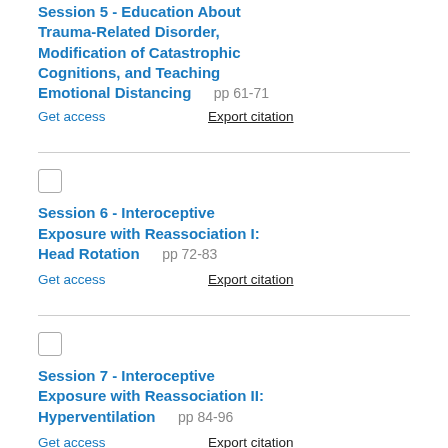Session 5 - Education About Trauma-Related Disorder, Modification of Catastrophic Cognitions, and Teaching Emotional Distancing pp 61-71
Get access   Export citation
Session 6 - Interoceptive Exposure with Reassociation I: Head Rotation pp 72-83
Get access   Export citation
Session 7 - Interoceptive Exposure with Reassociation II: Hyperventilation pp 84-96
Get access   Export citation